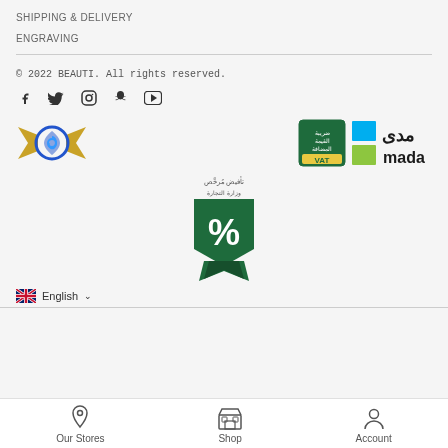SHIPPING & DELIVERY
ENGRAVING
© 2022 BEAUTI. All rights reserved.
[Figure (illustration): Social media icons: Facebook, Twitter, Instagram, Snapchat, YouTube]
[Figure (logo): Gold ribbon award logo on the left, VAT (ضريبة القيمة المضافة) badge and Mada payment logo on the right]
[Figure (logo): Tafweedh Murakhas (تأفيض مُرخَّص) Ministry of Commerce green badge with percentage symbol]
English
Our Stores  Shop  Account